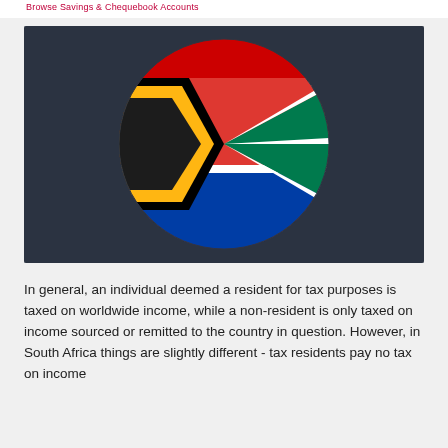Browse Savings & Chequebook Accounts
[Figure (illustration): South African flag rendered as a circular badge on a dark charcoal background. The circle shows the flag's distinctive design: red top section, green diagonal stripe with white border forming a Y-shape, black triangle on the left with yellow border, white middle band, and blue bottom section.]
In general, an individual deemed a resident for tax purposes is taxed on worldwide income, while a non-resident is only taxed on income sourced or remitted to the country in question. However, in South Africa things are slightly different - tax residents pay no tax on income